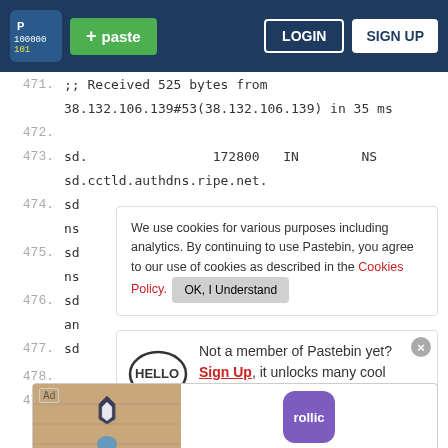Pastebin header with logo, paste button, LOGIN and SIGN UP
471.    ;; Received 525 bytes from
        38.132.106.139#53(38.132.106.139) in 35 ms
472.
473.    sd.                172800   IN        NS
        sd.cctld.authdns.ripe.net.
474.    sd
        ns
475.    sd
        ns
476.    sd
        an
477.    sd
We use cookies for various purposes including analytics. By continuing to use Pastebin, you agree to our use of cookies as described in the Cookies Policy.  OK, I Understand
Not a member of Pastebin yet?
Sign Up, it unlocks many cool features!
[Figure (screenshot): Ad banner: Hold and Move game with Rollic icon, text 'They Are Coming!' and Download link]